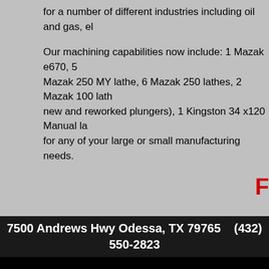for a number of different industries including oil and gas, el...
Our machining capabilities now include: 1 Mazak e670, 5 Mazak 250 MY lathe, 6 Mazak 250 lathes, 2 Mazak 100 lathes (new and reworked plungers), 1 Kingston 34 x120 Manual lathe for any of your large or small manufacturing needs.
7500 Andrews Hwy Odessa, TX 79765    (432) 550-2823